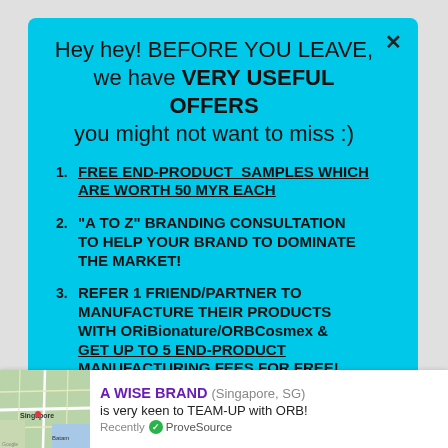Hey hey! BEFORE YOU LEAVE, we have VERY USEFUL OFFERS you might not want to miss :)
FREE END-PRODUCT SAMPLES WHICH ARE WORTH 50 MYR EACH
"A TO Z" BRANDING CONSULTATION TO HELP YOUR BRAND TO DOMINATE THE MARKET!
REFER 1 FRIEND/PARTNER TO MANUFACTURE THEIR PRODUCTS WITH ORiBionature/ORBCosmex & GET UP TO 5 END-PRODUCT MANUFACTURING FEES FOR FREE!
A WISE BRAND (Singapore, SG) is very keen to TEAM-UP with ORB! Recently ✔ ProveSource